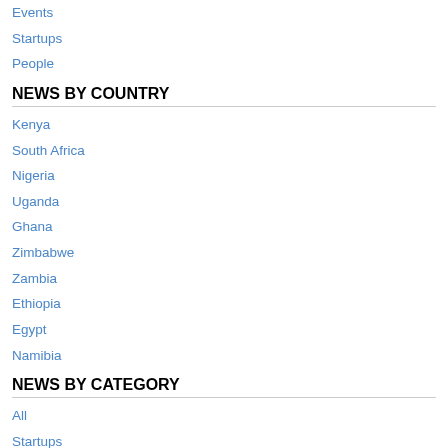Events
Startups
People
NEWS BY COUNTRY
Kenya
South Africa
Nigeria
Uganda
Ghana
Zimbabwe
Zambia
Ethiopia
Egypt
Namibia
NEWS BY CATEGORY
All
Startups
Mobile
Internet
Telecoms
Features
Events